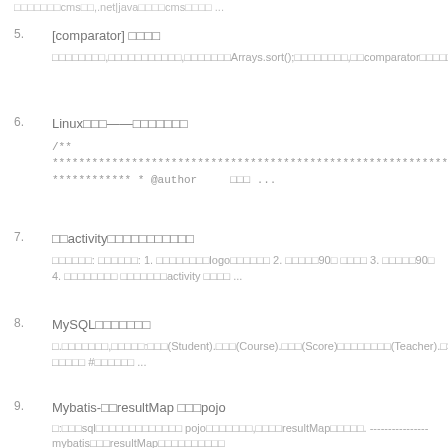□□□□□□□cms□□,.net|java□□□□cms□□□□ ...
5. [comparator] □□□□
□□□□□□□□,□□□□□□□□□□□,□□□□□□□Arrays.sort();□□□□□□□□,□□comparator□□□□□□,□□□□□□□,□□□□□□□□□□,□□□□
6. Linux□□□——□□□□□□□
/**
*********************************************************************************************
************ * @author    □□□ ...
7. □□activity□□□□□□□□□□□
□□□□□□: □□□□□□: 1. □□□□□□□□logo□□□□□□ 2. □□□□□90□ □□□□ 3. □□□□□90□ 4. □□□□□□□□ □□□□□□□activity □□□□ ...
8. MySQL□□□□□□□
□.□□□□□□□,□□□□□:□□□(Student).□□□(Course).□□□(Score)□□□□□□□□(Teacher).□SQL□□□□□□□□□□□□□□□. □□□□□ #□□□□□□ ...
9. Mybatis-□□resultMap □□□pojo
□:□□□sql□□□□□□□□□□□□□ pojo□□□□□□□,□□□□resultMap□□□□□. ----------------mybatis□□□resultMap□□□□□□□□□□